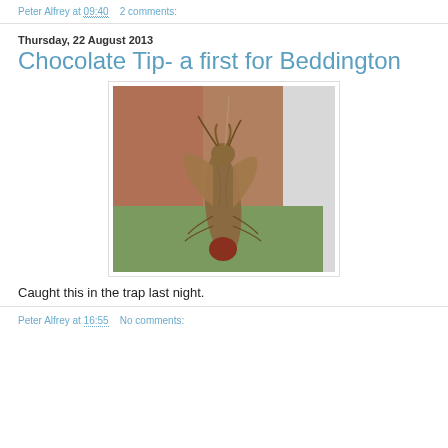Peter Alfrey at 09:40    2 comments:
Thursday, 22 August 2013
Chocolate Tip- a first for Beddington
[Figure (photo): A Chocolate Tip moth photographed close-up, clinging to a surface. The moth has distinctive wing shapes and coloring — brown with a reddish-brown tip. Background shows a brick wall and white surface out of focus.]
Caught this in the trap last night.
Peter Alfrey at 16:55    No comments: